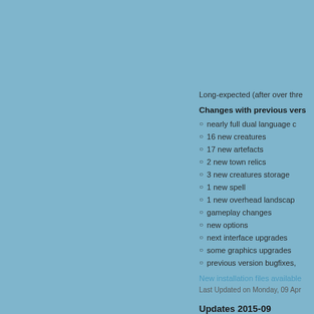Long-expected (after over thre
Changes with previous vers
nearly full dual language c
16 new creatures
17 new artefacts
2 new town relics
3 new creatures storage
1 new spell
1 new overhead landscap
gameplay changes
new options
next interface upgrades
some graphics upgrades
previous version bugfixes,
New installation files available
Last Updated on Monday, 09 Apr
Updates 2015-09
Written by Evgeny Voronov
Monday, 28 September 2015